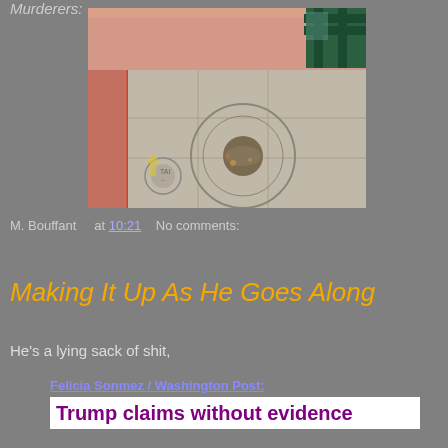Murderers:
[Figure (photo): Sidewalk photo showing concrete pavement with a circular tree base/drain cover, red curb on left, green bench in upper right corner]
M. Bouffant   at 10:21   No comments:
Share
Making It Up As He Goes Along
He's a lying sack of shit,
Felicia Sonmez / Washington Post:
Trump claims without evidence